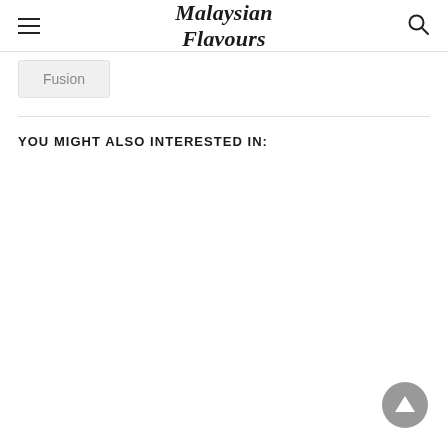Malaysian Flavours
Fusion
YOU MIGHT ALSO INTERESTED IN: